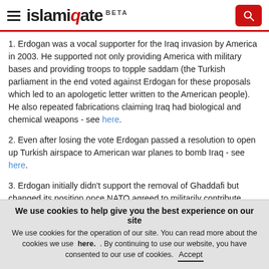islamiqate BETA
1. Erdogan was a vocal supporter for the Iraq invasion by America in 2003. He supported not only providing America with military bases and providing troops to topple saddam (the Turkish parliament in the end voted against Erdogan for these proposals which led to an apologetic letter written to the American people). He also repeated fabrications claiming Iraq had biological and chemical weapons - see here.
2. Even after losing the vote Erdogan passed a resolution to open up Turkish airspace to American war planes to bomb Iraq - see here.
3. Erdogan initially didn't support the removal of Ghaddafi but changed its position once NATO agreed to militarily contribute towards his removal.
We use cookies to help give you the best experience on our site. We use cookies for the operation of our site. You can read more about the cookies we use here. . By continuing to use our website, you have consented to our use of cookies. Accept